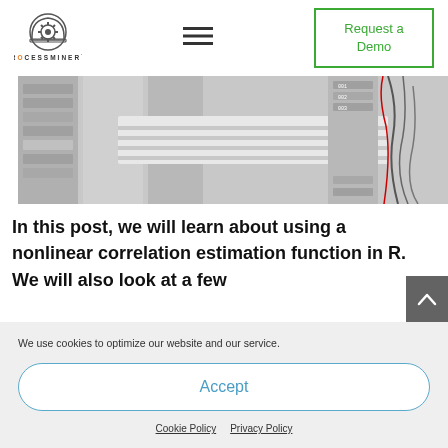[Figure (logo): ProcessMiner logo with gear/helmet icon and text PROCESSMINER]
[Figure (other): Hamburger menu icon (three horizontal lines)]
Request a Demo
[Figure (photo): Photo of server racks and networking equipment in a data center]
In this post, we will learn about using a nonlinear correlation estimation function in R. We will also look at a few
We use cookies to optimize our website and our service.
Accept
Cookie Policy   Privacy Policy